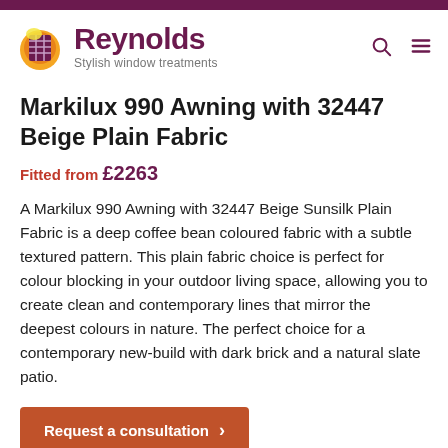Reynolds — Stylish window treatments
Markilux 990 Awning with 32447 Beige Plain Fabric
Fitted from £2263
A Markilux 990 Awning with 32447 Beige Sunsilk Plain Fabric is a deep coffee bean coloured fabric with a subtle textured pattern. This plain fabric choice is perfect for colour blocking in your outdoor living space, allowing you to create clean and contemporary lines that mirror the deepest colours in nature. The perfect choice for a contemporary new-build with dark brick and a natural slate patio.
Request a consultation